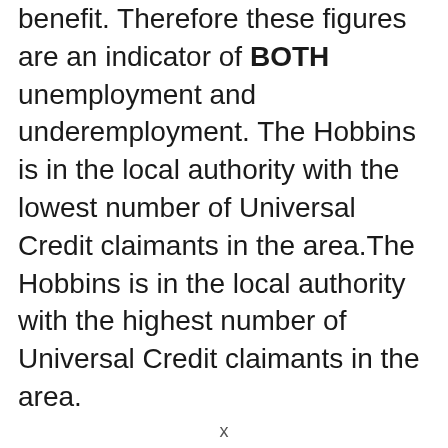benefit. Therefore these figures are an indicator of BOTH unemployment and underemployment. The Hobbins is in the local authority with the lowest number of Universal Credit claimants in the area.The Hobbins is in the local authority with the highest number of Universal Credit claimants in the area.
x